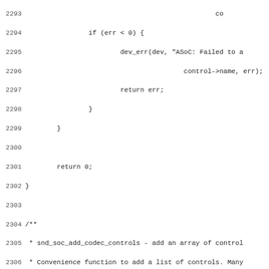[Figure (screenshot): Source code listing in C, lines 2293-2325, showing functions with line numbers on the left. Monospace font on white background. Shows if/return blocks, a Doxygen comment block, and function definitions for snd_soc_add_codec_controls.]